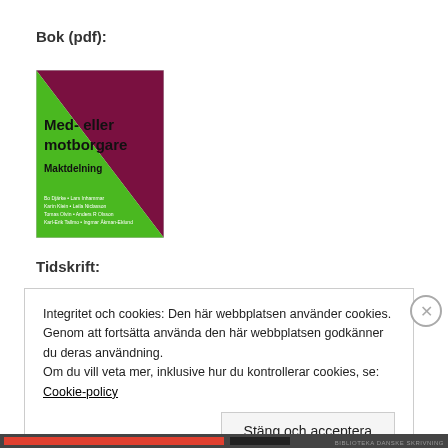Bok (pdf):
[Figure (illustration): Book cover for 'Med- eller motborgare Maktdelning' with green and dark red/maroon geometric design. Title in bold black text, subtitle 'Maktdelning' below, and author names at bottom in small white text.]
Tidskrift:
Integritet och cookies: Den här webbplatsen använder cookies. Genom att fortsätta använda den här webbplatsen godkänner du deras användning.
Om du vill veta mer, inklusive hur du kontrollerar cookies, se: Cookie-policy
Stäng och acceptera